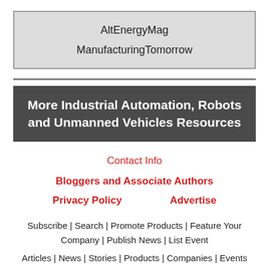| AltEnergyMag |
| ManufacturingTomorrow |
More Industrial Automation, Robots and Unmanned Vehicles Resources
Contact Info
Bloggers and Associate Authors
Privacy Policy    Advertise
Subscribe | Search | Promote Products | Feature Your Company | Publish News | List Event
Articles | News | Stories | Products | Companies | Events